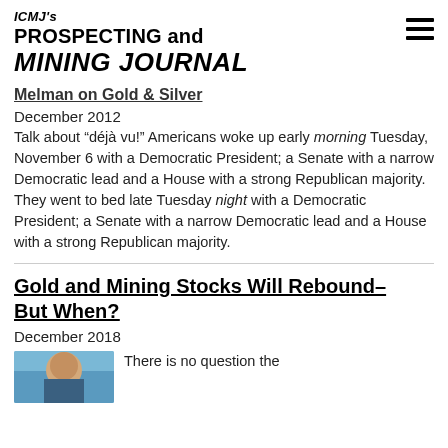ICMJ's PROSPECTING and MINING JOURNAL
Melman on Gold & Silver
December 2012
Talk about “déjà vu!” Americans woke up early morning Tuesday, November 6 with a Democratic President; a Senate with a narrow Democratic lead and a House with a strong Republican majority. They went to bed late Tuesday night with a Democratic President; a Senate with a narrow Democratic lead and a House with a strong Republican majority.
Gold and Mining Stocks Will Rebound–But When?
December 2018
There is no question the